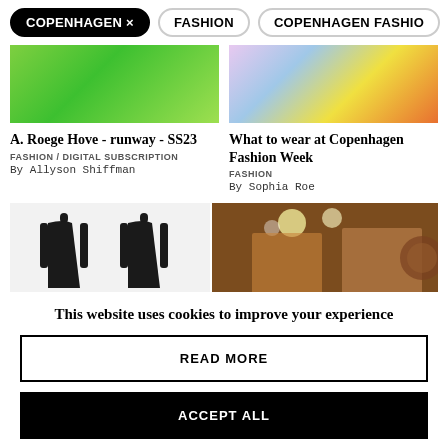COPENHAGEN × | FASHION | COPENHAGEN FASHIO >
[Figure (photo): Green ribbed dress/outfit on model, cropped]
[Figure (photo): Colorful fabric/accessories flatlay]
A. Roege Hove - runway - SS23
What to wear at Copenhagen Fashion Week
FASHION / DIGITAL SUBSCRIPTION
By Allyson Shiffman
FASHION
By Sophia Roe
[Figure (photo): Black long-sleeve dresses on mannequins]
[Figure (photo): Two models backstage with stage lights]
This website uses cookies to improve your experience
READ MORE
ACCEPT ALL
Settings